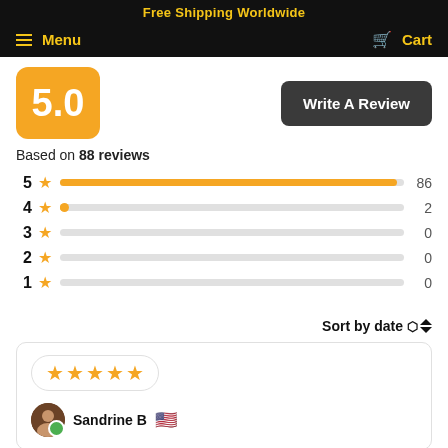Free Shipping Worldwide
Menu
Cart
5.0
Write A Review
Based on 88 reviews
[Figure (bar-chart): Rating distribution]
Sort by date
★★★★★
Sandrine B 🇺🇸